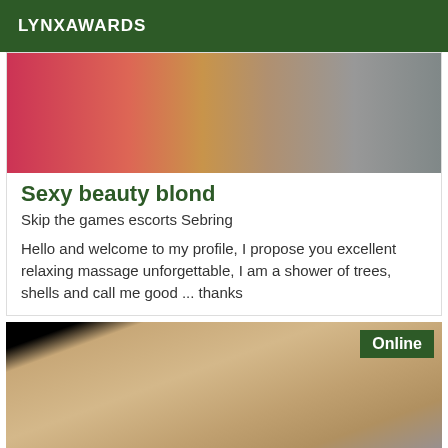LYNXAWARDS
[Figure (photo): Photo of a woman in red lingerie with fur background]
Sexy beauty blond
Skip the games escorts Sebring
Hello and welcome to my profile, I propose you excellent relaxing massage unforgettable, I am a shower of trees, shells and call me good ... thanks
[Figure (photo): Photo of a blonde woman, with Online badge overlay]